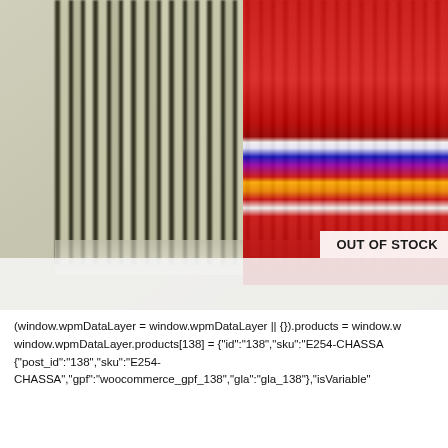[Figure (photo): Product photo showing striped textile/fabric items hanging or displayed. Left side shows dark olive/khaki vertical stripes fabric. Right side shows a red blanket or textile with multicolored horizontal stripes (blue, orange, white, purple bands). An 'OUT OF STOCK' label appears in the lower right of the image.]
(window.wpmDataLayer = window.wpmDataLayer || {}).products = window.w window.wpmDataLayer.products[138] = {"id":"138","sku":"E254-CHASSA {"post_id":"138","sku":"E254- CHASSA","gpf":"woocommerce_gpf_138","gla":"gla_138"},"isVariable"